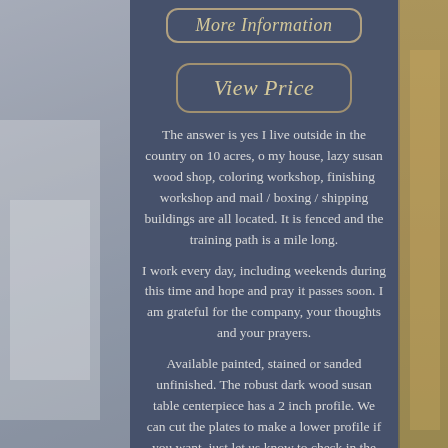[Figure (photo): Background photo of interior room with chairs visible on left and right sides behind a dark blue-grey center panel]
More Information
View Price
The answer is yes I live outside in the country on 10 acres, o my house, lazy susan wood shop, coloring workshop, finishing workshop and mail / boxing / shipping buildings are all located. It is fenced and the training path is a mile long.
I work every day, including weekends during this time and hope and pray it passes soon. I am grateful for the company, your thoughts and your prayers.
Available painted, stained or sanded unfinished. The robust dark wood susan table centerpiece has a 2 inch profile. We can cut the plates to make a lower profile if you want, just let us know to check in the special instructions. The lower profile has a 0.75 inch clearance out of the table. Please write to us for rush commands before ordering.